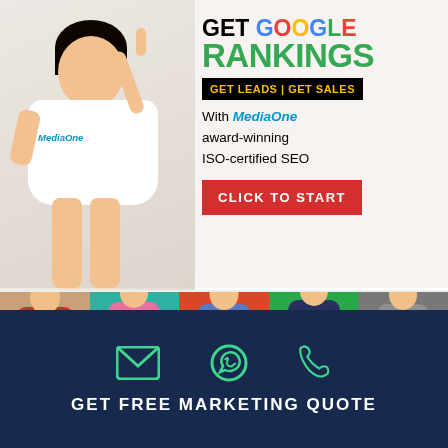[Figure (illustration): Marketing advertisement banner. Top half: woman in white MediaOne t-shirt pointing up, with text 'GET GOOGLE RANKINGS', 'GET LEADS | GET SALES', 'With MediaOne award-winning ISO-certified SEO', and red 'CLICK TO START' button. Middle: colorful photo strip of five jumping women on colored backgrounds with 'GET WEBSITES' text overlay. Bottom: dark navy bar with email, WhatsApp, and phone icons, and text 'GET FREE MARKETING QUOTE'.]